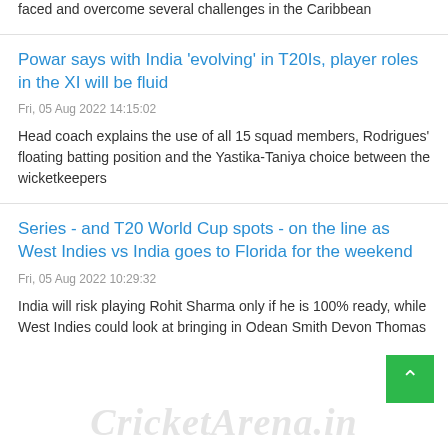faced and overcome several challenges in the Caribbean
Powar says with India 'evolving' in T20Is, player roles in the XI will be fluid
Fri, 05 Aug 2022 14:15:02
Head coach explains the use of all 15 squad members, Rodrigues' floating batting position and the Yastika-Taniya choice between the wicketkeepers
Series - and T20 World Cup spots - on the line as West Indies vs India goes to Florida for the weekend
Fri, 05 Aug 2022 10:29:32
India will risk playing Rohit Sharma only if he is 100% ready, while West Indies could look at bringing in Odean Smith Devon Thomas